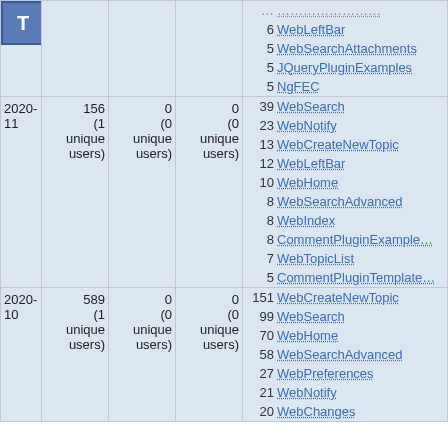| Date | Views | Saves | Contrib | Top pages |
| --- | --- | --- | --- | --- |
|  |  |  |  | ... / 6 WebLeftBar / 5 WebSearchAttachments / 5 JQueryPluginExamples / 5 NgFEC |
| 2020-11 | 156 (1 unique users) | 0 (0 unique users) | 0 (0 unique users) | 39 WebSearch / 23 WebNotify / 13 WebCreateNewTopic / 12 WebLeftBar / 10 WebHome / 8 WebSearchAdvanced / 8 WebIndex / 8 CommentPluginExample / 7 WebTopicList / 5 CommentPluginTemplate |
| 2020-10 | 589 (1 unique users) | 0 (0 unique users) | 0 (0 unique users) | 151 WebCreateNewTopic / 99 WebSearch / 70 WebHome / 58 WebSearchAdvanced / 27 WebPreferences / 21 WebNotify / 20 WebChanges |